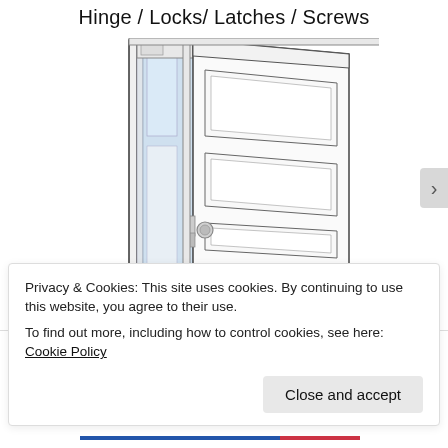Hinge / Locks/ Latches / Screws
[Figure (illustration): Line drawing of an open door showing the hinge side and the panel door swung open, with a door frame, glass panel on the left side, and a door knob/lock mechanism visible]
Privacy & Cookies: This site uses cookies. By continuing to use this website, you agree to their use.
To find out more, including how to control cookies, see here: Cookie Policy
Close and accept